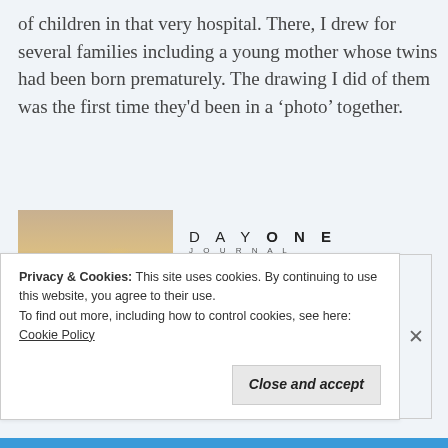of children in that very hospital. There, I drew for several families including a young mother whose twins had been born prematurely. The drawing I did of them was the first time they'd been in a 'photo' together.
[Figure (infographic): Day One Journal advertisement with a photo of a person holding up a phone toward a sunset, with the Day One Journal logo, 'Over 150,000 5-star reviews', and five black stars.]
Privacy & Cookies: This site uses cookies. By continuing to use this website, you agree to their use.
To find out more, including how to control cookies, see here: Cookie Policy
Close and accept